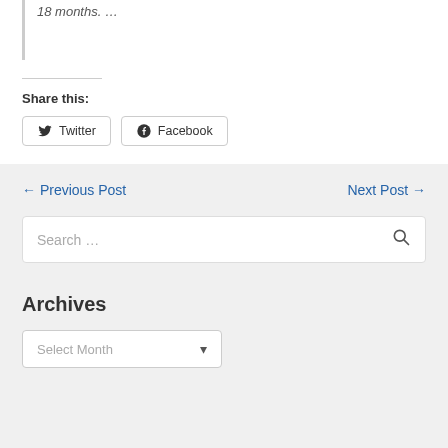18 months. …
Share this:
Twitter
Facebook
← Previous Post
Next Post →
Search …
Archives
Select Month